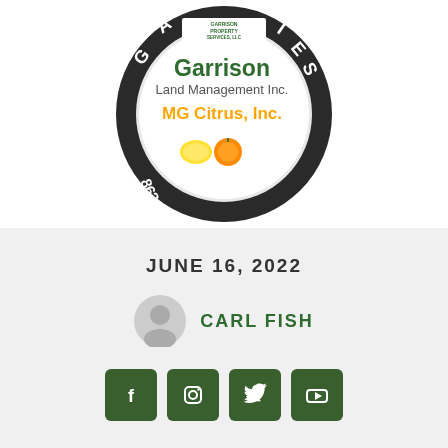[Figure (logo): Circular logo featuring Garrison Property Services LLC, Garrison Land Management Inc., MG Citrus Inc., with lemon and orange images, phone number 863-439-6550]
JUNE 16, 2022
CARL FISH
[Figure (other): Social media icons: Facebook, Instagram, Twitter, YouTube]